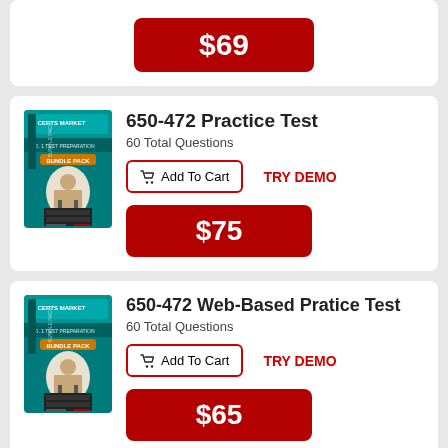[Figure (illustration): Product box image for a test preparation bundle pack with teal/black design]
$69
[Figure (illustration): Product box image for a test preparation bundle pack with teal/black design]
650-472 Practice Test
60 Total Questions
Add To Cart
TRY DEMO
$75
[Figure (illustration): Product box image for a test preparation bundle pack with teal/black design]
650-472 Web-Based Pratice Test
60 Total Questions
Add To Cart
TRY DEMO
$65